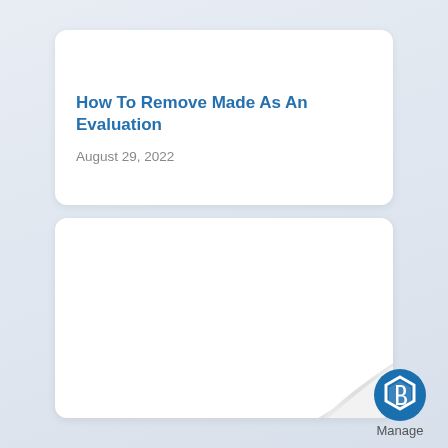How To Remove Made As An Evaluation
August 29, 2022
[Figure (logo): Manage logo with stylized hexagon 'b' icon and text 'Manage' below]